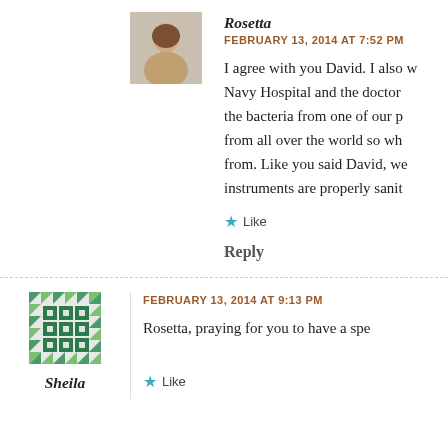[Figure (photo): Avatar photo of Rosetta - a woman with brown hair]
Rosetta
FEBRUARY 13, 2014 AT 7:52 PM
I agree with you David. I also w Navy Hospital and the doctor the bacteria from one of our p from all over the world so wh from. Like you said David, we instruments are properly sanit
Like
Reply
[Figure (illustration): Avatar icon for Sheila - a green quilt/mosaic pattern]
Sheila
FEBRUARY 13, 2014 AT 9:13 PM
Rosetta, praying for you to have a spe
Like